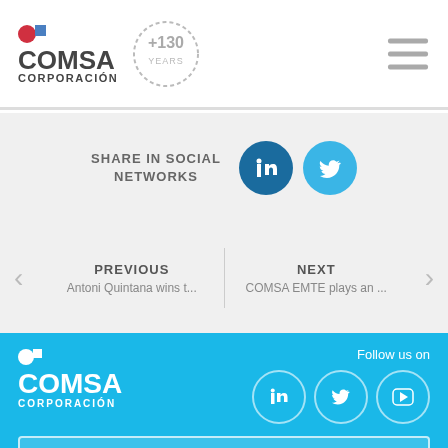[Figure (logo): COMSA Corporacion logo with red circle and blue square icons, plus +130 Years badge]
SHARE IN SOCIAL NETWORKS
PREVIOUS
Antoni Quintana wins t...
NEXT
COMSA EMTE plays an ...
[Figure (logo): COMSA Corporacion white logo on blue background with LinkedIn, Twitter and YouTube social icons]
Follow us on
CORPORATE PORTAL